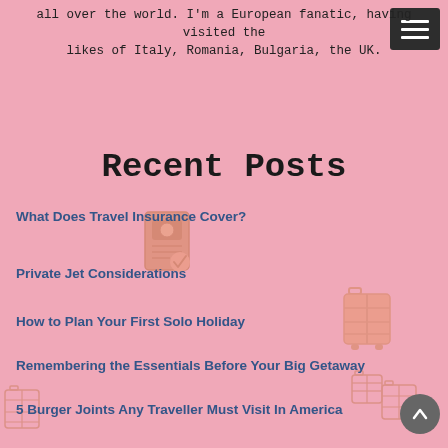all over the world. I'm a European fanatic, having visited the likes of Italy, Romania, Bulgaria, the UK.
Recent Posts
What Does Travel Insurance Cover?
Private Jet Considerations
How to Plan Your First Solo Holiday
Remembering the Essentials Before Your Big Getaway
5 Burger Joints Any Traveller Must Visit In America